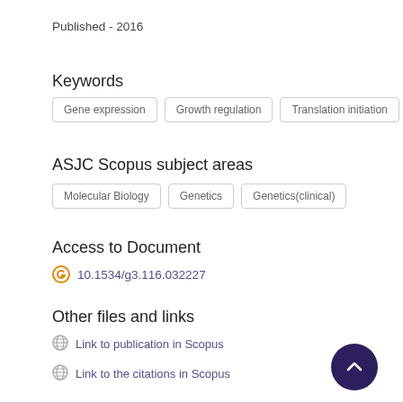Published - 2016
Keywords
Gene expression
Growth regulation
Translation initiation
ASJC Scopus subject areas
Molecular Biology
Genetics
Genetics(clinical)
Access to Document
10.1534/g3.116.032227
Other files and links
Link to publication in Scopus
Link to the citations in Scopus